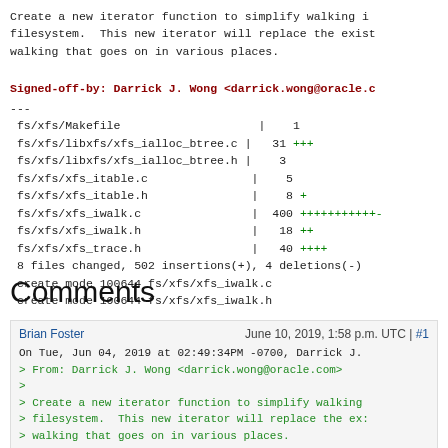Create a new iterator function to simplify walking in filesystem.  This new iterator will replace the exist walking that goes on in various places.
Signed-off-by: Darrick J. Wong <darrick.wong@oracle.c
---
 fs/xfs/Makefile                    |    1
 fs/xfs/libxfs/xfs_ialloc_btree.c |   31 +++
 fs/xfs/libxfs/xfs_ialloc_btree.h |    3
 fs/xfs/xfs_itable.c               |    5
 fs/xfs/xfs_itable.h               |    8 +
 fs/xfs/xfs_iwalk.c                |  400 +++++++++++-
 fs/xfs/xfs_iwalk.h                |   18 ++
 fs/xfs/xfs_trace.h                |   40 ++++
 8 files changed, 502 insertions(+), 4 deletions(-)
 create mode 100644 fs/xfs/xfs_iwalk.c
 create mode 100644 fs/xfs/xfs_iwalk.h
Comments
Brian Foster   June 10, 2019, 1:58 p.m. UTC | #1
On Tue, Jun 04, 2019 at 02:49:34PM -0700, Darrick J.
> From: Darrick J. Wong <darrick.wong@oracle.com>
>
> Create a new iterator function to simplify walking
> filesystem.  This new iterator will replace the ex:
> walking that goes on in various places.